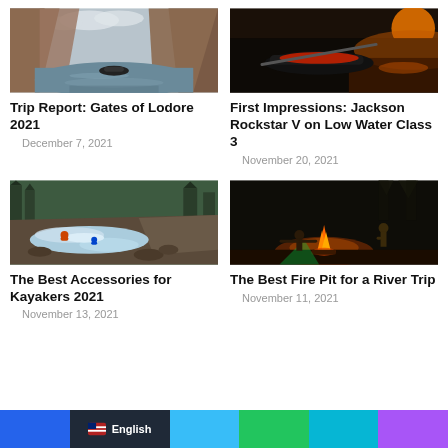[Figure (photo): River canyon with rafts on calm water, tall red rock walls]
Trip Report: Gates of Lodore 2021
December 7, 2021
[Figure (photo): Kayak at sunset/sunrise with orange light reflecting on water]
First Impressions: Jackson Rockstar V on Low Water Class 3
November 20, 2021
[Figure (photo): Kayakers on whitewater rapids with rocky cliff and pine trees]
The Best Accessories for Kayakers 2021
November 13, 2021
[Figure (photo): People gathered around a campfire at night outdoors]
The Best Fire Pit for a River Trip
November 11, 2021